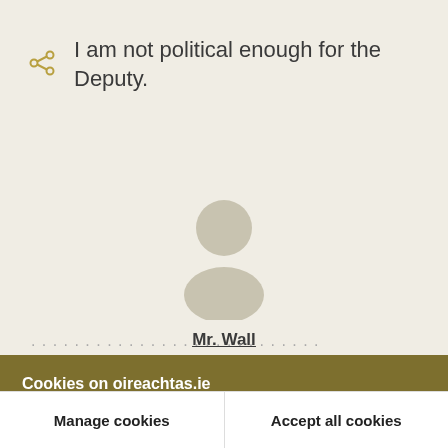I am not political enough for the Deputy.
[Figure (illustration): Anonymous person silhouette avatar icon in grey/beige tones]
Mr. Wall
Cookies on oireachtas.ie
We use cookies to ensure our website works well. We'd like to use analytics and functionality cookies to help us improve it but we require your consent to do so. If you don't consent, only necessary cookies will be used. Read more about our cookies
Manage cookies
Accept all cookies